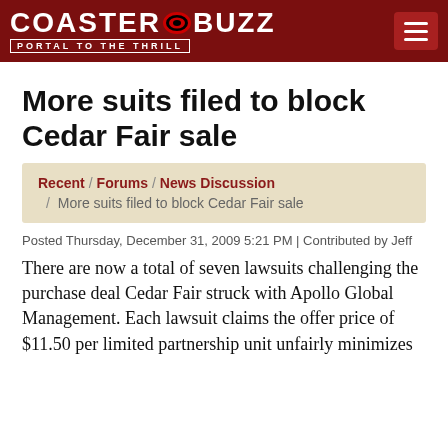CoasterBuzz — PORTAL TO THE THRILL
More suits filed to block Cedar Fair sale
Recent / Forums / News Discussion / More suits filed to block Cedar Fair sale
Posted Thursday, December 31, 2009 5:21 PM | Contributed by Jeff
There are now a total of seven lawsuits challenging the purchase deal Cedar Fair struck with Apollo Global Management. Each lawsuit claims the offer price of $11.50 per limited partnership unit unfairly minimizes